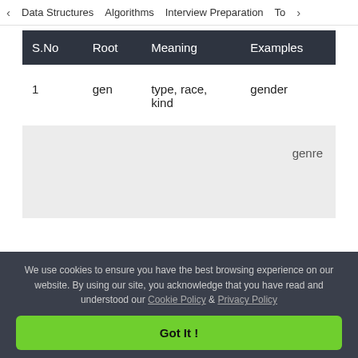< Data Structures   Algorithms   Interview Preparation   To>
| S.No | Root | Meaning | Examples |
| --- | --- | --- | --- |
| 1 | gen | type, race, kind | gender |
genre
We use cookies to ensure you have the best browsing experience on our website. By using our site, you acknowledge that you have read and understood our Cookie Policy & Privacy Policy
Got It !